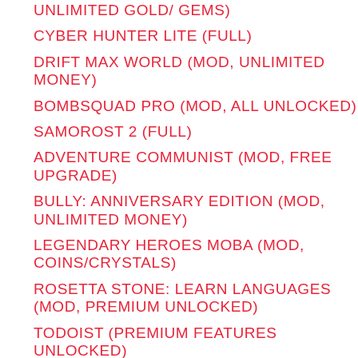UNLIMITED GOLD/ GEMS)
CYBER HUNTER LITE (FULL)
DRIFT MAX WORLD (MOD, UNLIMITED MONEY)
BOMBSQUAD PRO (MOD, ALL UNLOCKED)
SAMOROST 2 (FULL)
ADVENTURE COMMUNIST (MOD, FREE UPGRADE)
BULLY: ANNIVERSARY EDITION (MOD, UNLIMITED MONEY)
LEGENDARY HEROES MOBA (MOD, COINS/CRYSTALS)
ROSETTA STONE: LEARN LANGUAGES (MOD, PREMIUM UNLOCKED)
TODOIST (PREMIUM FEATURES UNLOCKED)
BANNER ADS ELIMINATED (UNLIMITED & OVE...